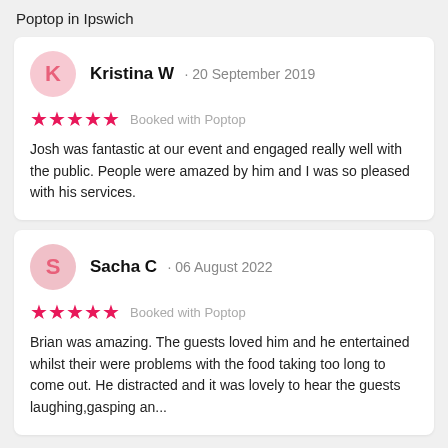Poptop in Ipswich
Kristina W · 20 September 2019
★★★★★ Booked with Poptop
Josh was fantastic at our event and engaged really well with the public. People were amazed by him and I was so pleased with his services.
Sacha C · 06 August 2022
★★★★★ Booked with Poptop
Brian was amazing. The guests loved him and he entertained whilst their were problems with the food taking too long to come out. He distracted and it was lovely to hear the guests laughing,gasping an...